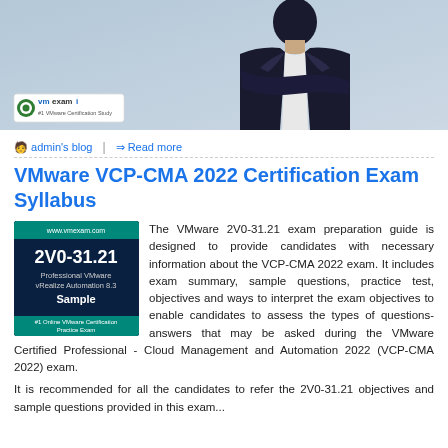[Figure (photo): Hero banner with a man in a dark suit with arms crossed against a light blue/grey background, with the VMexami logo in the bottom left corner]
admin's blog | Read more
VMware VCP-CMA 2022 Certification Exam Syllabus
[Figure (photo): Book/course cover image for 2V0-31.21 Professional VMware vRealize Automation 8.3 Sample exam, labeled as #1 Online VMware Certification Practice Exam, with www.vmexam.com at top]
The VMware 2V0-31.21 exam preparation guide is designed to provide candidates with necessary information about the VCP-CMA 2022 exam. It includes exam summary, sample questions, practice test, objectives and ways to interpret the exam objectives to enable candidates to assess the types of questions-answers that may be asked during the VMware Certified Professional - Cloud Management and Automation 2022 (VCP-CMA 2022) exam.
It is recommended for all the candidates to refer the 2V0-31.21 objectives and sample questions provided in this exam...